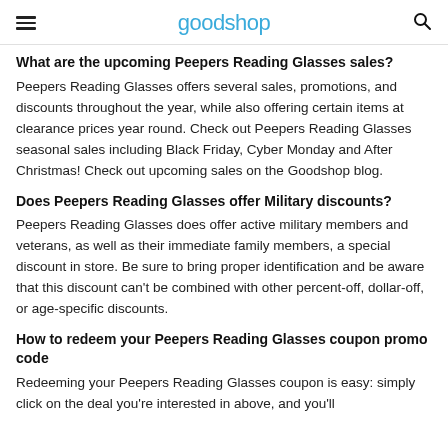goodshop
What are the upcoming Peepers Reading Glasses sales?
Peepers Reading Glasses offers several sales, promotions, and discounts throughout the year, while also offering certain items at clearance prices year round. Check out Peepers Reading Glasses seasonal sales including Black Friday, Cyber Monday and After Christmas! Check out upcoming sales on the Goodshop blog.
Does Peepers Reading Glasses offer Military discounts?
Peepers Reading Glasses does offer active military members and veterans, as well as their immediate family members, a special discount in store. Be sure to bring proper identification and be aware that this discount can't be combined with other percent-off, dollar-off, or age-specific discounts.
How to redeem your Peepers Reading Glasses coupon promo code
Redeeming your Peepers Reading Glasses coupon is easy: simply click on the deal you're interested in above, and you'll